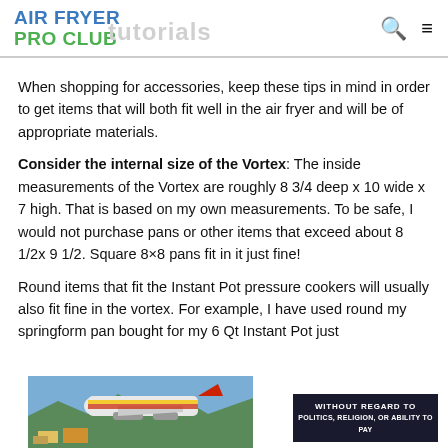AIR FRYER PRO CLUB
When shopping for accessories, keep these tips in mind in order to get items that will both fit well in the air fryer and will be of appropriate materials.
Consider the internal size of the Vortex: The inside measurements of the Vortex are roughly 8 3/4 deep x 10 wide x 7 high. That is based on my own measurements. To be safe, I would not purchase pans or other items that exceed about 8 1/2x 9 1/2. Square 8×8 pans fit in it just fine!
Round items that fit the Instant Pot pressure cookers will usually also fit fine in the vortex. For example, I have used round my springform pan bought for my 6 Qt Instant Pot just
[Figure (photo): Advertisement banner showing an airplane being loaded with cargo, with a dark badge overlay reading WITHOUT REGARD TO in white text.]